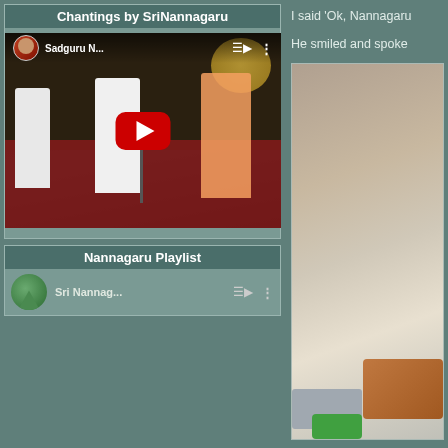Chantings by SriNannagaru
[Figure (screenshot): YouTube video thumbnail showing Sadguru N... with a person singing at a microphone on stage with others standing, red play button overlay]
Nannagaru Playlist
[Figure (screenshot): YouTube playlist item showing Sri Nannag... with a circular mountain thumbnail]
I said ‘Ok, Nannagaru
He smiled and spoke
[Figure (photo): Photo of a person lying down, close-up view showing upper body with patterned pillow/cushion and medical device]